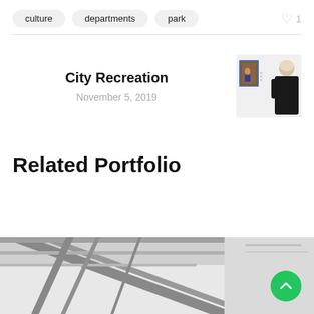culture
departments
park
♥ 1
City Recreation
November 5, 2019
[Figure (photo): A person viewing artwork hanging on a white gallery wall]
Related Portfolio
[Figure (photo): Black and white architectural interior photo showing ceiling structure]
[Figure (other): Green circular back-to-top button with upward chevron icon]